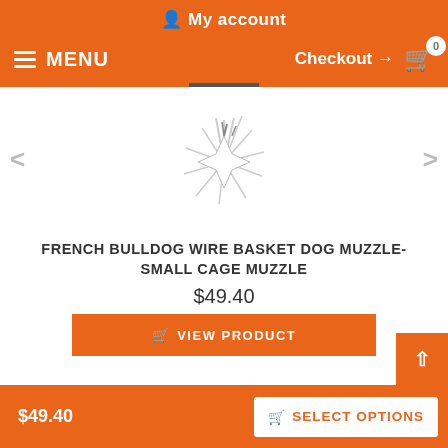My account
MENU | Checkout → 0
[Figure (illustration): Starburst/explosion graphic in white and gray on white background, product placeholder image]
FRENCH BULLDOG WIRE BASKET DOG MUZZLE-SMALL CAGE MUZZLE
$49.40
VIEW PRODUCT
$49.40 | SELECT OPTIONS